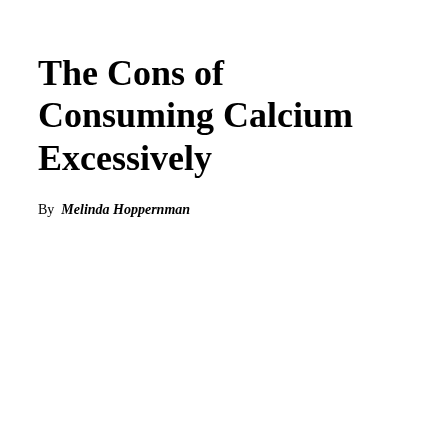The Cons of Consuming Calcium Excessively
By Melinda Hoppernman